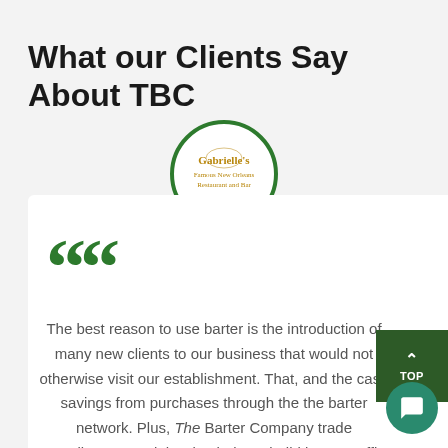What our Clients Say About TBC
[Figure (logo): Circular logo with green border containing a golden/brown decorative restaurant logo with text 'Famous New Orleans Restaurant and Bar']
The best reason to use barter is the introduction of many new clients to our business that would not otherwise visit our establishment. That, and the cash savings from purchases through the the barter network. Plus, The Barter Company trade coordinators work hard to help us build barter traffic and spend our trade wisely.